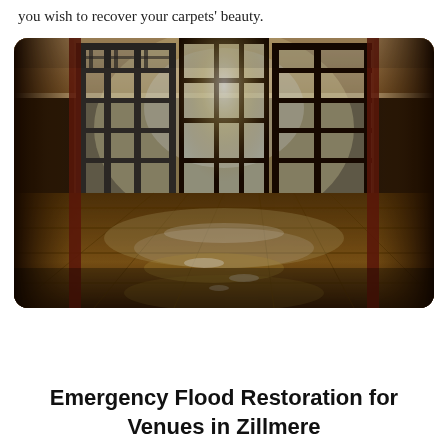you wish to recover your carpets' beauty.
[Figure (photo): Interior room with flooded wet tiled floor reflecting light from ornate metal-grated windows/doors in the background, dark warm tones, viewed from low angle.]
Emergency Flood Restoration for Venues in Zillmere